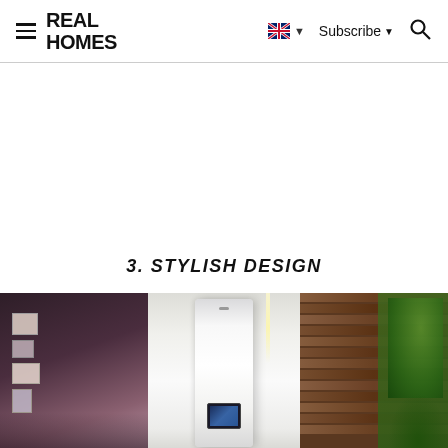REAL HOMES
3. STYLISH DESIGN
[Figure (photo): Composite photo showing three panels: left panel with dark room and photo frames on wall, center panel with a white LG smart appliance/refrigerator with screen, right panel with wooden slat blinds and outdoor greenery/trees]